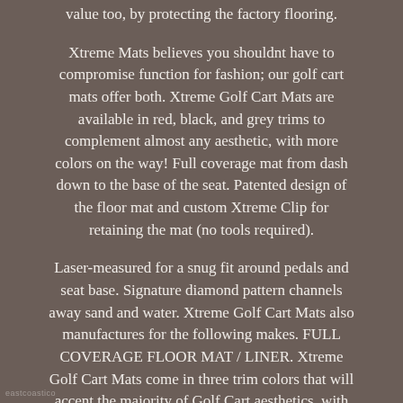value too, by protecting the factory flooring.
Xtreme Mats believes you shouldnt have to compromise function for fashion; our golf cart mats offer both. Xtreme Golf Cart Mats are available in red, black, and grey trims to complement almost any aesthetic, with more colors on the way! Full coverage mat from dash down to the base of the seat. Patented design of the floor mat and custom Xtreme Clip for retaining the mat (no tools required).
Laser-measured for a snug fit around pedals and seat base. Signature diamond pattern channels away sand and water. Xtreme Golf Cart Mats also manufactures for the following makes. FULL COVERAGE FLOOR MAT / LINER. Xtreme Golf Cart Mats come in three trim colors that will accent the majority of Golf Cart aesthetics, with more colors on the way. Red, Grey, and Black trims are our three color options currently. Looking for a different color? Xtreme